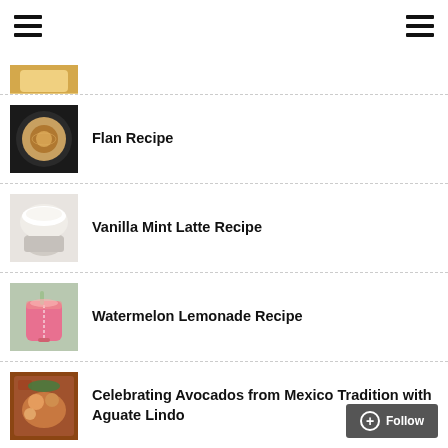Menu
[Figure (photo): Partial food image thumbnail at top (cropped, only partially visible)]
[Figure (photo): Flan dessert on a dark plate]
Flan Recipe
[Figure (photo): Vanilla mint latte drink]
Vanilla Mint Latte Recipe
[Figure (photo): Pink watermelon lemonade drink with straw]
Watermelon Lemonade Recipe
[Figure (photo): Avocado dish with Mexican food]
Celebrating Avocados from Mexico Tradition with Aguate Lindo
[Figure (photo): Group of people in superhero costumes]
How to Throw a Superhero Party Worthy of ‘The Avengers